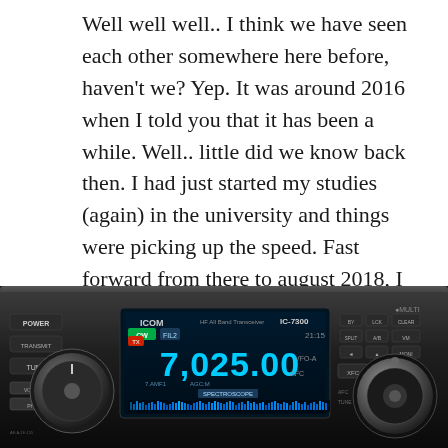Well well well.. I think we have seen each other somewhere here before, haven't we? Yep. It was around 2016 when I told you that it has been a while. Well.. little did we know back then. I had just started my studies (again) in the university and things were picking up the speed. Fast forward from there to august 2018, I sold my Icom IC-7300 among other radios. I was done. Time was just flying by too quickly with all that: day job, family and studying. Familiar story, isn't it?
[Figure (photo): Photo of an Icom IC-7300 HF radio transceiver showing the front panel with a large display showing frequency 7,025.00, spectrum scope, various knobs and buttons.]